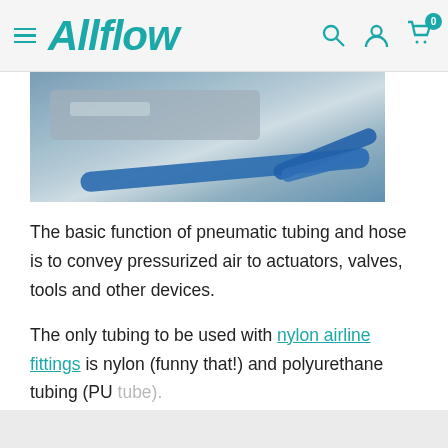Allflow
[Figure (photo): Photo of pneumatic tubing and hose connected to industrial machinery, showing blue tubes and metal components]
The basic function of pneumatic tubing and hose is to convey pressurized air to actuators, valves, tools and other devices.
The only tubing to be used with nylon airline fittings is nylon (funny that!) and polyurethane tubing (PU tube).
+ View more